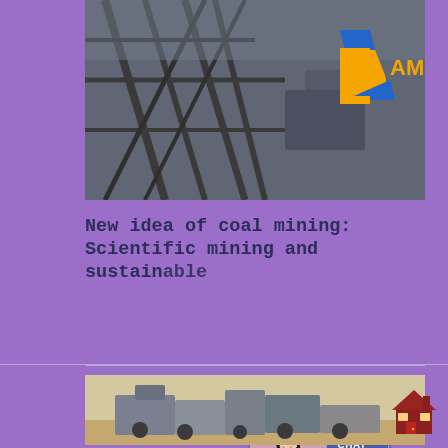[Figure (photo): Industrial coal mining or processing machinery with metal framework, with EAMC logo overlay in orange and blue]
New idea of coal mining: Scientific mining and sustainable
International Journal of Coal Science & Technology | Home
Contact us
[Figure (screenshot): Live chat popup overlay showing 'Have Questions or Need a Quote?' with a customer service representative and CHAT NOW button]
[Figure (photo): Coal mining machinery equipment in an open pit mine setting]